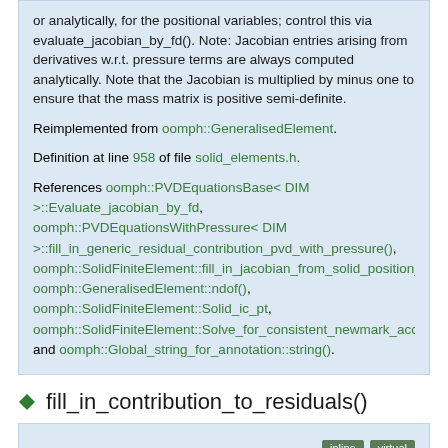or analytically, for the positional variables; control this via evaluate_jacobian_by_fd(). Note: Jacobian entries arising from derivatives w.r.t. pressure terms are always computed analytically. Note that the Jacobian is multiplied by minus one to ensure that the mass matrix is positive semi-definite.
Reimplemented from oomph::GeneralisedElement.
Definition at line 958 of file solid_elements.h.
References oomph::PVDEquationsBase< DIM >::Evaluate_jacobian_by_fd, oomph::PVDEquationsWithPressure< DIM >::fill_in_generic_residual_contribution_pvd_with_pressure(), oomph::SolidFiniteElement::fill_in_jacobian_from_solid_position_by_i, oomph::GeneralisedElement::ndof(), oomph::SolidFiniteElement::Solid_ic_pt, oomph::SolidFiniteElement::Solve_for_consistent_newmark_accel_ and oomph::Global_string_for_annotation::string().
fill_in_contribution_to_residuals()
inline virtual